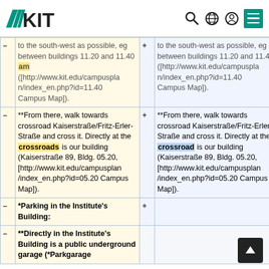KIT logo and navigation icons
| –/+ | Old version | –/+ | New version |
| --- | --- | --- | --- |
| – | to the south-west as possible, eg between buildings 11.20 and 11.40 am ([http://www.kit.edu/campusplan/index_en.php?id=11.40 Campus Map]). | + | to the south-west as possible, eg between buildings 11.20 and 11.40 ([http://www.kit.edu/campusplan/index_en.php?id=11.40 Campus Map]). |
| – | **From there, walk towards crossroad Kaiserstraße/Fritz-Erler-Straße and cross it. Directly at the crossroads is our building (Kaiserstraße 89, Bldg. 05.20, [http://www.kit.edu/campusplan/index_en.php?id=05.20 Campus Map]). | + | **From there, walk towards crossroad Kaiserstraße/Fritz-Erler-Straße and cross it. Directly at the crossroad is our building (Kaiserstraße 89, Bldg. 05.20, [http://www.kit.edu/campusplan/index_en.php?id=05.20 Campus Map]). |
| – | *Parking in the Institute's Building: | + |  |
| – | **Directly in the Institute's Building is a public underground garage (*Parkgarage |  |  |